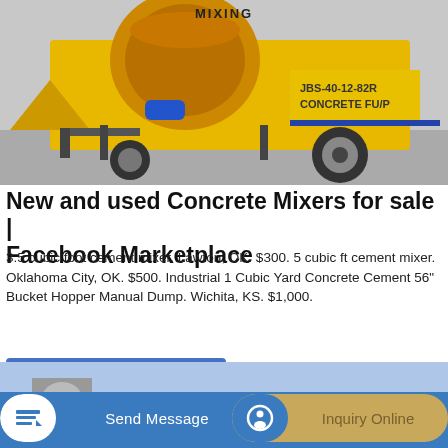[Figure (photo): Photo of a yellow concrete mixer / concrete pump machine (JBS-40-12-82R Concrete Pump) on a trailer, with a large rotating drum labeled MIXING, parked outdoors.]
New and used Concrete Mixers for sale | Facebook Marketplace
3.5 cubic foot cement mixer. Lawton, OK. $300. 5 cubic ft cement mixer. Oklahoma City, OK. $500. Industrial 1 Cubic Yard Concrete Cement 56" Bucket Hopper Manual Dump. Wichita, KS. $1,000.
[Figure (screenshot): GET A QUOTE button (blue rectangle) and below it a partial view of another image with Send Message and Inquiry Online action buttons.]